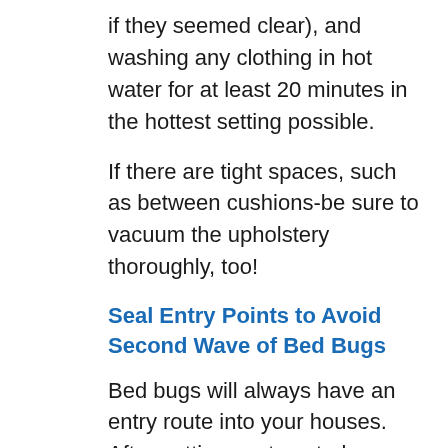if they seemed clear), and washing any clothing in hot water for at least 20 minutes in the hottest setting possible.
If there are tight spaces, such as between cushions-be sure to vacuum the upholstery thoroughly, too!
Seal Entry Points to Avoid Second Wave of Bed Bugs
Bed bugs will always have an entry route into your houses. After getting pest control, you must block certain areas of your home.
It's important to seal off entry points